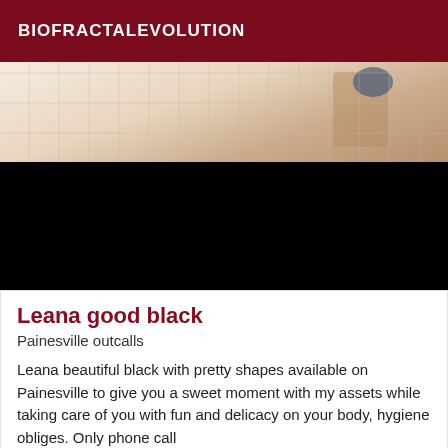BIOFRACTALEVOLUTION
[Figure (photo): Partial photo of a person at top, with a large black rectangle below obscuring most of the image]
Leana good black
Painesville outcalls
Leana beautiful black with pretty shapes available on Painesville to give you a sweet moment with my assets while taking care of you with fun and delicacy on your body, hygiene obliges. Only phone call